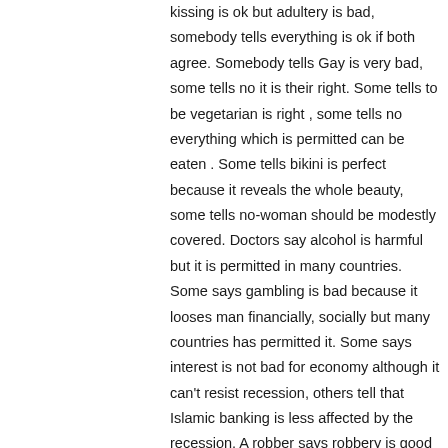kissing is ok but adultery is bad, somebody tells everything is ok if both agree. Somebody tells Gay is very bad, some tells no it is their right. Some tells to be vegetarian is right , some tells no everything which is permitted can be eaten . Some tells bikini is perfect because it reveals the whole beauty, some tells no-woman should be modestly covered. Doctors say alcohol is harmful but it is permitted in many countries. Some says gambling is bad because it looses man financially, socially but many countries has permitted it. Some says interest is not bad for economy although it can't resist recession, others tell that Islamic banking is less affected by the recession. A robber says robbery is good because he can earn much money with less effort and enjoy a luxurious life but the victim will say it is crime.
For these reasons laws of every country differs each other and there is a continuous clash between pro and con.
So the question is that who will define the good or bad or set limits It is obviously the God, the Creator. Other wise one said...